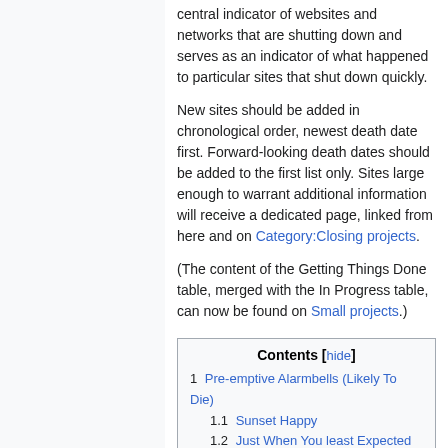central indicator of websites and networks that are shutting down and serves as an indicator of what happened to particular sites that shut down quickly.
New sites should be added in chronological order, newest death date first. Forward-looking death dates should be added to the first list only. Sites large enough to warrant additional information will receive a dedicated page, linked from here and on Category:Closing projects.
(The content of the Getting Things Done table, merged with the In Progress table, can now be found on Small projects.)
| Contents |
| --- |
| 1  Pre-emptive Alarmbells (Likely To Die) |
|   1.1  Sunset Happy |
|   1.2  Just When You least Expected It... |